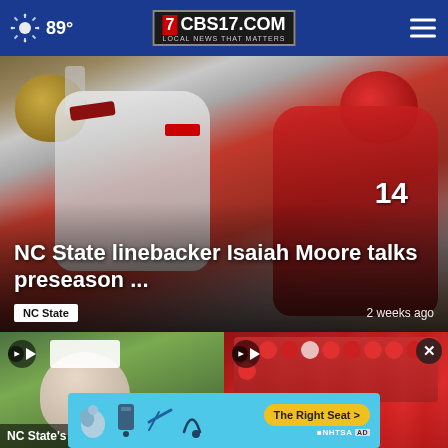89° CBS17.COM LOCAL NEWS THAT MATTERS
[Figure (photo): Football players tackling — NC State player in red jersey #14 tackling a Boston College player in white jersey #81]
NC State linebacker Isaiah Moore talks preseason ...
NC State   2 weeks ago
[Figure (photo): Video thumbnail of a man in a white cap on a green field background — NC State's Dave ...]
[Figure (photo): Video thumbnail of NC State fans in red cheering in stands with close button visible]
[Figure (infographic): NHTSA The Right Seat advertisement banner with light blue background, car seat icons, and yellow call-to-action button]